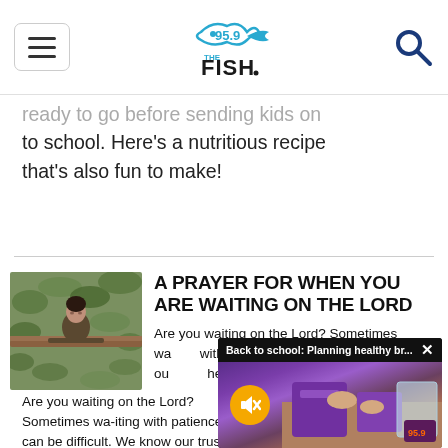95.9 The Fish - navigation header with hamburger menu and search icon
ready to go before sending kids on to school. Here's a nutritious recipe that's also fun to make!
A PRAYER FOR WHEN YOU ARE WAITING ON THE LORD
[Figure (photo): Person leaning on a wooden fence outdoors among foliage, appearing contemplative]
Are you waiting on the Lord? Sometimes waiting with patience can be difficult. We know we should put our trust in Him and His timing, but it helps to hear from others who have been there. So many faithful men and women of God have...
[Figure (screenshot): Popup video overlay: Back to school: Planning healthy br... with a mute button, showing someone preparing food with purple lunch boxes]